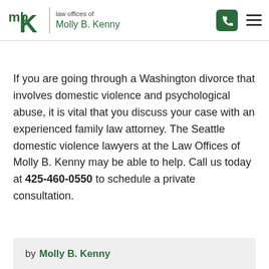law offices of Molly B. Kenny
If you are going through a Washington divorce that involves domestic violence and psychological abuse, it is vital that you discuss your case with an experienced family law attorney. The Seattle domestic violence lawyers at the Law Offices of Molly B. Kenny may be able to help. Call us today at 425-460-0550 to schedule a private consultation.
by Molly B. Kenny